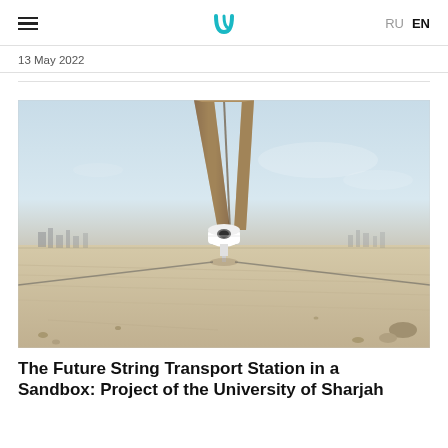RU  EN
13 May 2022
[Figure (photo): A string transport (monorail/elevated rail) pod photographed from ground level looking up, with a track extending overhead into the distance. Sandy desert terrain in the foreground and background, city skyline faintly visible on the left horizon. Light blue sky with slight haze.]
The Future String Transport Station in a Sandbox: Project of the University of Sharjah